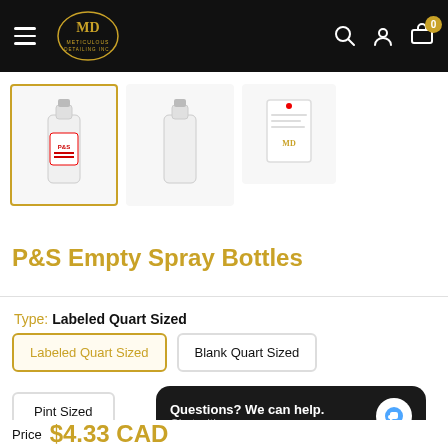Meticulous Detailing Inc. — navigation header with logo, search, account, cart (0)
[Figure (photo): Three product thumbnails of P&S Empty Spray Bottles: first with red label (selected, gold border), second blank white bottle, third label/tag image]
P&S Empty Spray Bottles
Type: Labeled Quart Sized
Labeled Quart Sized (selected option button)
Blank Quart Sized (option button)
Pint Sized (option button)
Questions? We can help. Chat with us now.
Price: $4.33 CAD (partially visible)